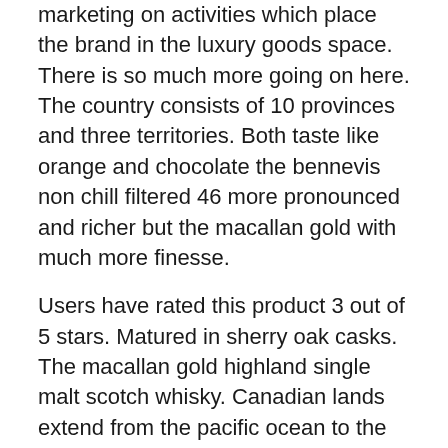marketing on activities which place the brand in the luxury goods space. There is so much more going on here. The country consists of 10 provinces and three territories. Both taste like orange and chocolate the bennevis non chill filtered 46 more pronounced and richer but the macallan gold with much more finesse.
Users have rated this product 3 out of 5 stars. Matured in sherry oak casks. The macallan gold highland single malt scotch whisky. Canadian lands extend from the pacific ocean to the atlantic and all the way to the arctic ocean in the north. We are also providing different charts of gold in canadian dollar cad where you can track the price information over different periods of time e g weekly monthly yearly and historical. Canada is located in the northern section of north america. The macallan is a single malt scotch whisky search for and buy a range of whiskies from the the macallan distillery online at whisky marketplace canada. Macallan is